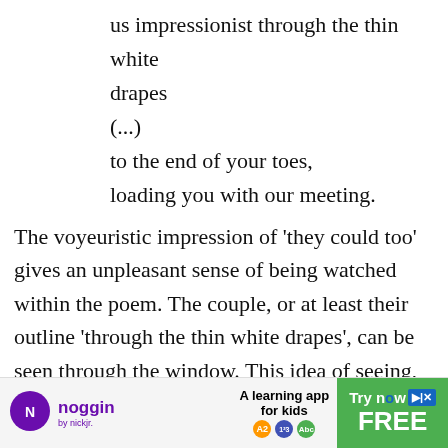us impressionist through the thin white drapes
(...)
to the end of your toes,
loading you with our meeting.
The voyeuristic impression of ‘they could too’ gives an unpleasant sense of being watched within the poem. The couple, or at least their outline ‘through the thin white drapes’, can be seen through the window. This idea of seeing, yet also being seen, is a glimmer... seen...
[Figure (other): Noggin by Nick Jr. advertisement banner: 'A learning app for kids. Try now FREE.']